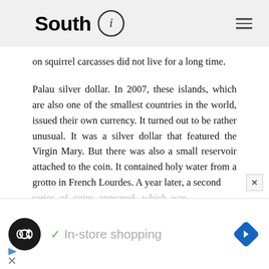South
on squirrel carcasses did not live for a long time.
Palau silver dollar. In 2007, these islands, which are also one of the smallest countries in the world, issued their own currency. It turned out to be rather unusual. It was a silver dollar that featured the Virgin Mary. But there was also a small reservoir attached to the coin. It contained holy water from a grotto in French Lourdes. A year later, a second series of coins appeared, which was
[Figure (screenshot): Advertisement banner showing a circular dark logo with infinity-like symbol, a green checkmark, the text 'In-store shopping', and a blue diamond-shaped navigation arrow icon.]